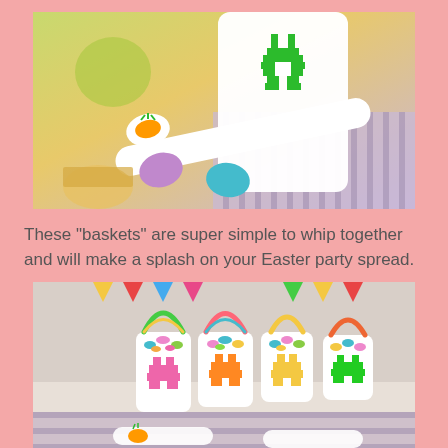[Figure (photo): Close-up photo of a white cylindrical container with a green pixel-art bunny design on it, a white spoon with a carrot decoration, and colorful Easter eggs (purple, teal/blue) scattered on a striped multicolor background.]
These "baskets" are super simple to whip together and will make a splash on your Easter party spread.
[Figure (photo): Photo of multiple small white cylindrical Easter basket containers, each decorated with colorful bunny designs (yellow, orange, pink, green) and rainbow-colored handles, filled with colorful candy-coated Easter eggs, arranged on a striped pastel background.]